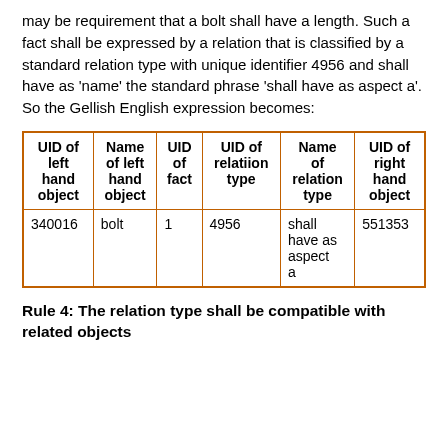may be requirement that a bolt shall have a length. Such a fact shall be expressed by a relation that is classified by a standard relation type with unique identifier 4956 and shall have as 'name' the standard phrase 'shall have as aspect a'. So the Gellish English expression becomes:
| UID of left hand object | Name of left hand object | UID of fact | UID of relatiion type | Name of relation type | UID of right hand object |
| --- | --- | --- | --- | --- | --- |
| 340016 | bolt | 1 | 4956 | shall have as aspect a | 551353 |
Rule 4: The relation type shall be compatible with related objects